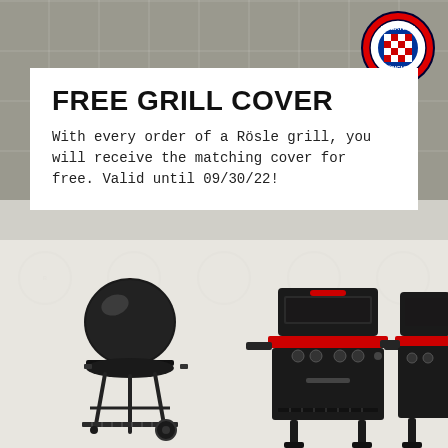[Figure (photo): Background photo of outdoor patio with tiles and chairs, FC Bayern München badge visible in top right corner]
FREE GRILL COVER
With every order of a Rösle grill, you will receive the matching cover for free. Valid until 09/30/22!
[Figure (photo): Three Rösle grills displayed: a black kettle charcoal grill on the left, a black gas grill with red accents in the center, and another gas grill partially visible on the right. Background has faint Rösle watermark logos.]